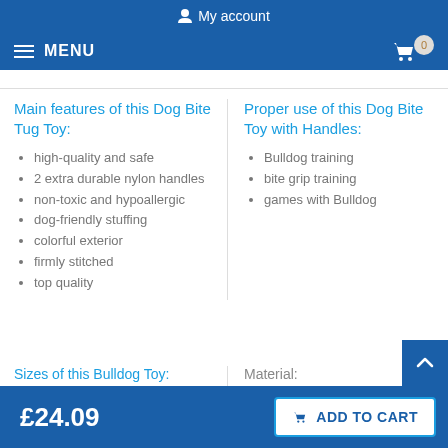My account
MENU   0
Main features of this Dog Bite Tug Toy:
high-quality and safe
2 extra durable nylon handles
non-toxic and hypoallergic
dog-friendly stuffing
colorful exterior
firmly stitched
top quality
Proper use of this Dog Bite Toy with Handles:
Bulldog training
bite grip training
games with Bulldog
Sizes of this Bulldog Toy:
Material:
£24.09
ADD TO CART